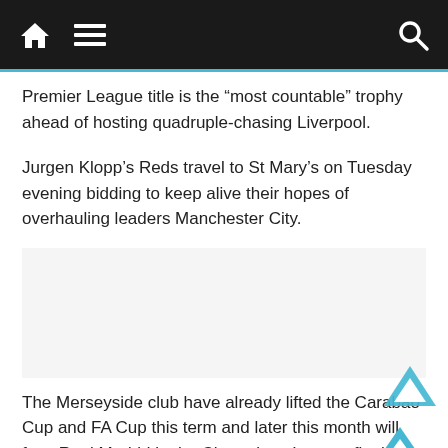Navigation bar with home, menu, and search icons
Premier League title is the “most countable” trophy ahead of hosting quadruple-chasing Liverpool.
Jurgen Klopp’s Reds travel to St Mary’s on Tuesday evening bidding to keep alive their hopes of overhauling leaders Manchester City.
[Figure (other): Advertisement or empty content block]
The Merseyside club have already lifted the Carabao Cup and FA Cup this term and later this month will face Real Madrid in the Champions League final.